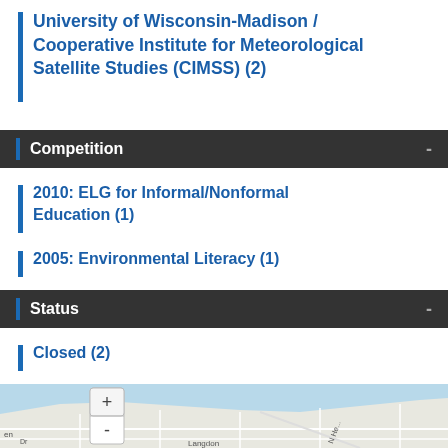University of Wisconsin-Madison / Cooperative Institute for Meteorological Satellite Studies (CIMSS) (2)
Competition
2010: ELG for Informal/Nonformal Education (1)
2005: Environmental Literacy (1)
Status
Closed (2)
[Figure (map): Interactive map showing the University of Wisconsin-Madison / CIMSS location area with street layout near Langdon street and surrounding water body (Lake Mendota). Includes zoom +/- controls.]